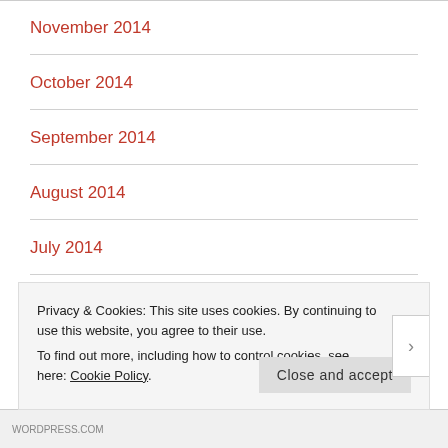November 2014
October 2014
September 2014
August 2014
July 2014
June 2014
May 2014
Privacy & Cookies: This site uses cookies. By continuing to use this website, you agree to their use.
To find out more, including how to control cookies, see here: Cookie Policy
WORDPRESS.COM